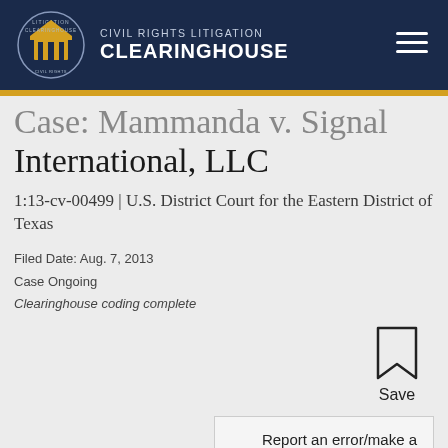Civil Rights Litigation Clearinghouse
Case: Mammanda v. Signal International, LLC
1:13-cv-00499 | U.S. District Court for the Eastern District of Texas
Filed Date: Aug. 7, 2013
Case Ongoing
Clearinghouse coding complete